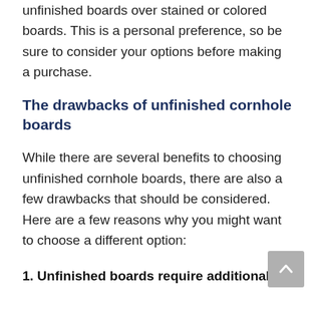unfinished boards over stained or colored boards. This is a personal preference, so be sure to consider your options before making a purchase.
The drawbacks of unfinished cornhole boards
While there are several benefits to choosing unfinished cornhole boards, there are also a few drawbacks that should be considered. Here are a few reasons why you might want to choose a different option:
1. Unfinished boards require additional